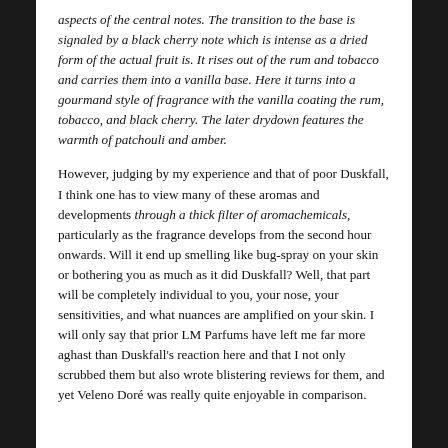aspects of the central notes. The transition to the base is signaled by a black cherry note which is intense as a dried form of the actual fruit is. It rises out of the rum and tobacco and carries them into a vanilla base. Here it turns into a gourmand style of fragrance with the vanilla coating the rum, tobacco, and black cherry. The later drydown features the warmth of patchouli and amber.
However, judging by my experience and that of poor Duskfall, I think one has to view many of these aromas and developments through a thick filter of aromachemicals, particularly as the fragrance develops from the second hour onwards. Will it end up smelling like bug-spray on your skin or bothering you as much as it did Duskfall? Well, that part will be completely individual to you, your nose, your sensitivities, and what nuances are amplified on your skin. I will only say that prior LM Parfums have left me far more aghast than Duskfall's reaction here and that I not only scrubbed them but also wrote blistering reviews for them, and yet Veleno Doré was really quite enjoyable in comparison.